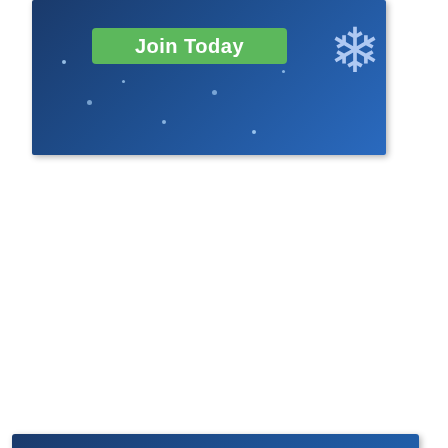[Figure (illustration): Dark blue winter-themed banner with a green 'Join Today' button and a snowflake graphic on the right]
[Figure (logo): MD For Lives logo on dark blue background — colorful dot grid, large green MD letters, teal 'FOR LIVES' text with trademark symbol]
[Figure (illustration): Advertisement banner: skin mole photo on left, 'New Mole Remover Stunned Investors' headline in blue, subtitle text, naturalhealthcures.net URL, circular arrow button on right, close X button]